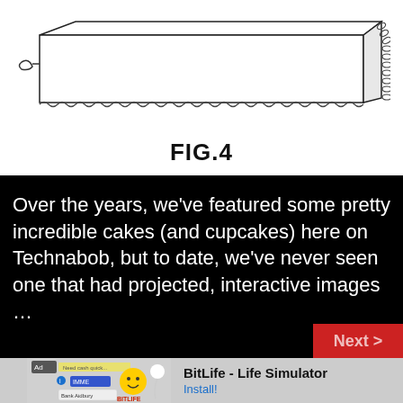[Figure (engineering-diagram): Technical line drawing of a flat rectangular box/tray with chain-link border along the bottom edge and a small connector on the left side, shown in 3D perspective view]
FIG.4
Over the years, we've featured some pretty incredible cakes (and cupcakes) here on Technabob, but to date, we've never seen one that had projected, interactive images …
Read >
[Figure (screenshot): Advertisement banner for BitLife - Life Simulator app with Install button]